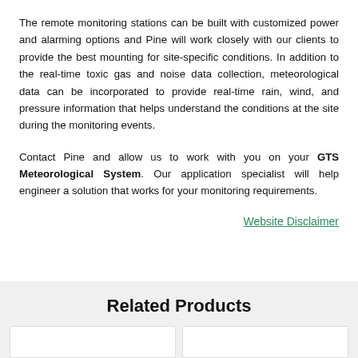The remote monitoring stations can be built with customized power and alarming options and Pine will work closely with our clients to provide the best mounting for site-specific conditions. In addition to the real-time toxic gas and noise data collection, meteorological data can be incorporated to provide real-time rain, wind, and pressure information that helps understand the conditions at the site during the monitoring events.
Contact Pine and allow us to work with you on your GTS Meteorological System. Our application specialist will help engineer a solution that works for your monitoring requirements.
Website Disclaimer
Related Products